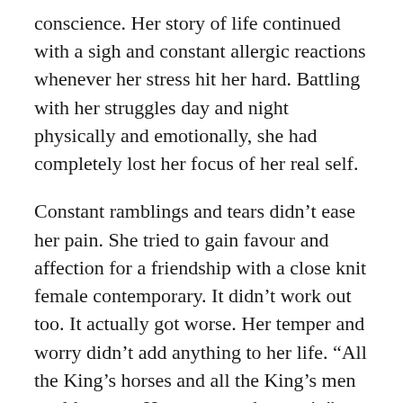conscience. Her story of life continued with a sigh and constant allergic reactions whenever her stress hit her hard. Battling with her struggles day and night physically and emotionally, she had completely lost her focus of her real self.
Constant ramblings and tears didn't ease her pain. She tried to gain favour and affection for a friendship with a close knit female contemporary. It didn't work out too. It actually got worse. Her temper and worry didn't add anything to her life. “All the King’s horses and all the King’s men could not put Humpty together again” was the exact scenario of her life. No one could help her.